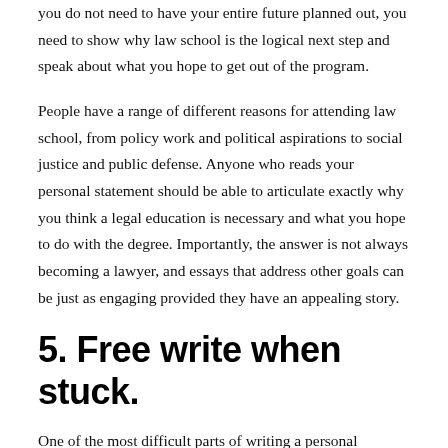you do not need to have your entire future planned out, you need to show why law school is the logical next step and speak about what you hope to get out of the program.
People have a range of different reasons for attending law school, from policy work and political aspirations to social justice and public defense. Anyone who reads your personal statement should be able to articulate exactly why you think a legal education is necessary and what you hope to do with the degree. Importantly, the answer is not always becoming a lawyer, and essays that address other goals can be just as engaging provided they have an appealing story.
5. Free write when stuck.
One of the most difficult parts of writing a personal statement is simply starting. If you feel stuck, you should free write until you start to hit your stride. You may not have a particular